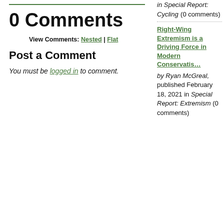0 Comments
View Comments: Nested | Flat
Post a Comment
You must be logged in to comment.
in Special Report: Cycling (0 comments)
Right-Wing Extremism is a Driving Force in Modern Conservatism
by Ryan McGreal, published February 18, 2021 in Special Report: Extremism (0 comments)